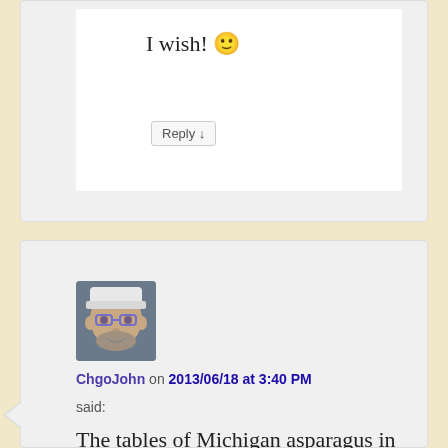I wish! 🙂
Reply ↓
[Figure (photo): Profile photo of ChgoJohn — a smiling man with glasses and beard, wearing a white cap]
ChgoJohn on 2013/06/18 at 3:40 PM said:
The tables of Michigan asparagus in this area's farmers markets have been